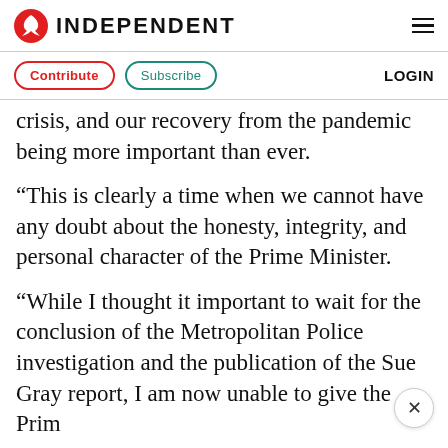INDEPENDENT
Contribute   Subscribe   LOGIN
crisis, and our recovery from the pandemic being more important than ever.
“This is clearly a time when we cannot have any doubt about the honesty, integrity, and personal character of the Prime Minister.
“While I thought it important to wait for the conclusion of the Metropolitan Police investigation and the publication of the Sue Gray report, I am now unable to give the Prim